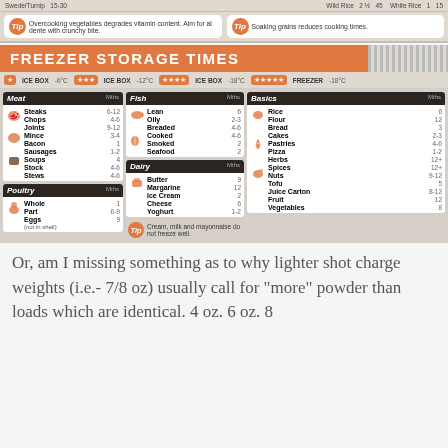Swede/Turnip 15-30
Wild Rice 2½ 45 / White Rice 1 15
Tip: Overcooking vegetables degrades vitamin content. Aim for al dente with crunchy bite.
Tip: Soaking grains reduces cooking times.
FREEZER STORAGE TIMES
★ ICE BOX -6°C   ★★★ ICE BOX -12°C   ★★★★ ICE BOX -18°C   ★★★★★ FREEZER -18°C
| Meat | Mths |
| --- | --- |
| Steaks | 6-12 |
| Chops | 4-6 |
| Joints | 9-12 |
| Mince | 3-4 |
| Bacon | 1 |
| Sausages | 1-2 |
| Soups | 4 |
| Stock | 4-6 |
| Stews | 4-6 |
| Poultry | Mths |
| --- | --- |
| Whole | 1 |
| Part | 6-9 |
| Eggs (not in shell) | 9 |
| Fish | Mths |
| --- | --- |
| Lean | 6 |
| Oily | 2-3 |
| Breaded | 4-6 |
| Cooked | 4-6 |
| Smoked | 2 |
| Seafood | 2 |
| Dairy | Mths |
| --- | --- |
| Butter | 9 |
| Margarine | 12 |
| Ice Cream | 2 |
| Cheese | 6 |
| Yoghurt | 1-2 |
| Basics | Mths |
| --- | --- |
| Rice | 6 |
| Flour | 12 |
| Bread | 3 |
| Cakes | 2-3 |
| Pastries | 4-6 |
| Pizza | 1-2 |
| Herbs | 12+ |
| Spices | 12+ |
| Nuts | 9-12 |
| Tofu | 5 |
| Juice Carton | 8-12 |
| Fruit | 12 |
| Vegetables | 8 |
Tip: Cream, milk and mayonnaise do not freeze well.
Or, am I missing something as to why lighter shot charge weights (i.e.- 7/8 oz) usually call for "more" powder than loads which are identical. 4 oz. 6 oz. 8